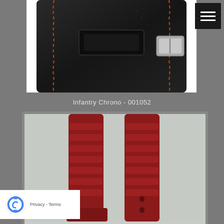[Figure (photo): Close-up photo of a black leather watch strap with orange stitching and a silver buckle, on a white background.]
Infantry Chrono - 001052
[Figure (photo): Photo of two red rubber/silicone watch straps side by side on a light gray background. The straps have a ridged, wavy texture and a hole visible on the right strap.]
Privacy - Terms